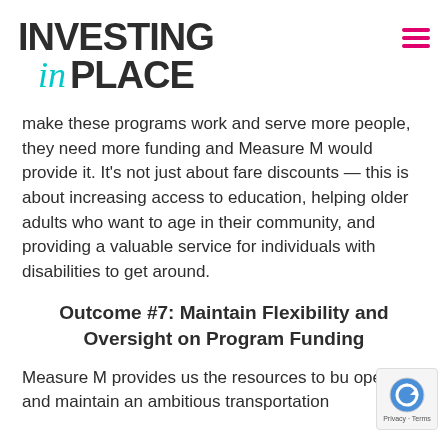INVESTING in PLACE
make these programs work and serve more people, they need more funding and Measure M would provide it. It's not just about fare discounts — this is about increasing access to education, helping older adults who want to age in their community, and providing a valuable service for individuals with disabilities to get around.
Outcome #7: Maintain Flexibility and Oversight on Program Funding
Measure M provides us the resources to bu operate, and maintain an ambitious transportation